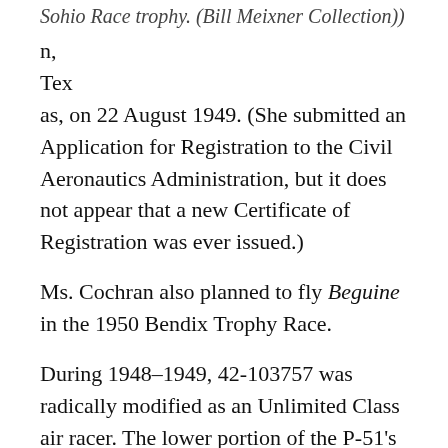Sohio Race trophy. (Bill Meixner Collection)
n,
Tex
as, on 22 August 1949. (She submitted an Application for Registration to the Civil Aeronautics Administration, but it does not appear that a new Certificate of Registration was ever issued.)
Ms. Cochran also planned to fly Beguine in the 1950 Bendix Trophy Race.
During 1948–1949, 42-103757 was radically modified as an Unlimited Class air racer. The lower portion of the P-51's fuselage was removed and faired over. The radiator and engine oil cooler which had been enclosed in the Mustang's characteristic belly scoop were relocated to the wingtips. (The Air Force had experimented with a ramjet-powered P-51D, 44-63528. A Marquardt XRJ-30-MA ramjet was placed on each wingtip. The cooling pods on 42-103757 resemble these, though another source says that the pods were